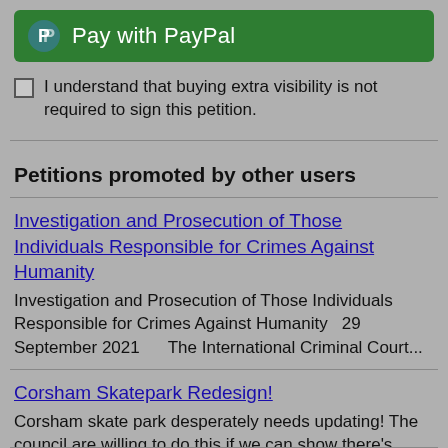[Figure (other): PayPal payment button with PayPal logo and text 'Pay with PayPal' on green background]
I understand that buying extra visibility is not required to sign this petition.
Petitions promoted by other users
Investigation and Prosecution of Those Individuals Responsible for Crimes Against Humanity
Investigation and Prosecution of Those Individuals Responsible for Crimes Against Humanity   29 September 2021     The International Criminal Court...
Corsham Skatepark Redesign!
Corsham skate park desperately needs updating! The council are willing to do this if we can show there's significant interest. Please sign this petition and share...